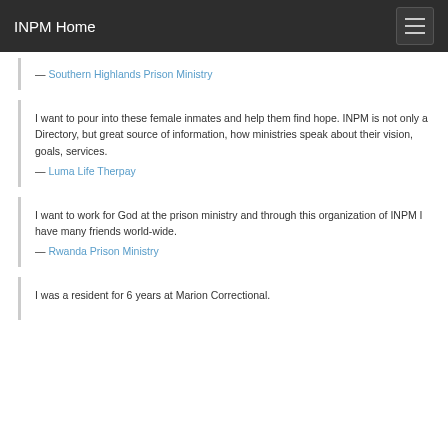INPM Home
— Southern Highlands Prison Ministry
I want to pour into these female inmates and help them find hope. INPM is not only a Directory, but great source of information, how ministries speak about their vision, goals, services.
— Luma Life Therpay
I want to work for God at the prison ministry and through this organization of INPM I have many friends world-wide.
— Rwanda Prison Ministry
I was a resident for 6 years at Marion Correctional.